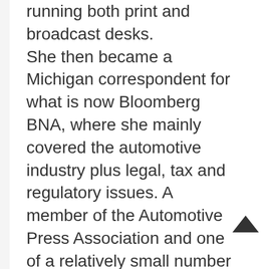running both print and broadcast desks. She then became a Michigan correspondent for what is now Bloomberg BNA, where she mainly covered the automotive industry plus legal, tax and regulatory issues. A member of the Automotive Press Association and one of a relatively small number of women on the car beat, Chapman has discussed the automotive industry multiple times of National Public Radio, and in 2014 was selected as an honorary judge at the prestigious Cobble Beach Concours d'Elegance. She has written for numerous national outlets including Time, People, Al-Jazeera America, Fortune, Daily Beast